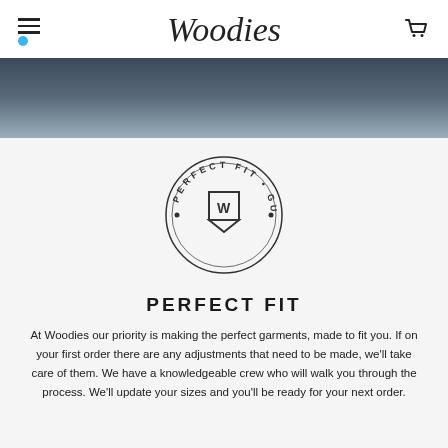Woodies
[Figure (logo): Perfect Fit Guarantee circular badge with a W pennant logo in the center, text reading PERFECT FIT · GUARANTEE around the circle]
PERFECT FIT
At Woodies our priority is making the perfect garments, made to fit you. If on your first order there are any adjustments that need to be made, we'll take care of them. We have a knowledgeable crew who will walk you through the process. We'll update your sizes and you'll be ready for your next order.